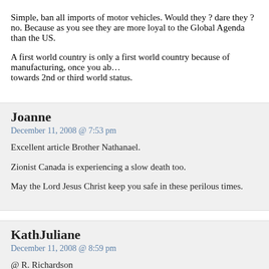Simple, ban all imports of motor vehicles. Would they ? dare they ? no. Because as you see they are more loyal to the Global Agenda than the US.
A first world country is only a first world country because of manufacturing, once you abandon that you drift towards 2nd or third world status.
Joanne
December 11, 2008 @ 7:53 pm
Excellent article Brother Nathanael.
Zionist Canada is experiencing a slow death too.
May the Lord Jesus Christ keep you safe in these perilous times.
KathJuliane
December 11, 2008 @ 8:59 pm
@ R. Richardson
You said: “The humankind needs to understand the concept of Yang-Yin which demonstrates light and darkness. The bounded circle is engulfing those opposing sides. Too much evilness will lead to the beginning of goodness. If we can’t prevent goodness from growing too much, then it leads to the beginning of evilness. So it is important for us to maintain the balance without letting us…